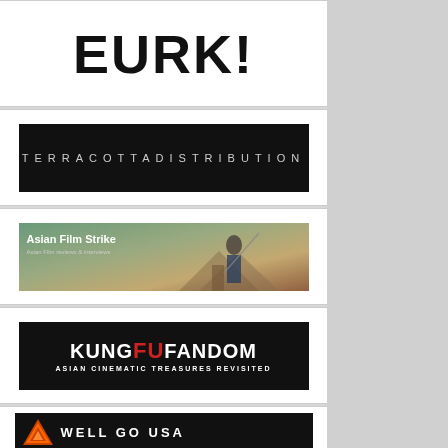[Figure (logo): EUREKA! logo in bold black text on white background]
[Figure (logo): TERRACOTTADISTRIBUTION logo in spaced white letters on black banner]
[Figure (photo): Asian Film Strike banner with a woman in blue jacket holding a weapon, rural background]
[Figure (logo): KUNG FU FANDOM banner with red FU letters on black, subtitle: ASIAN CINEMATIC TREASURES REVISITED]
[Figure (logo): WELL GO USA logo with orange/red arrow icon on dark background]